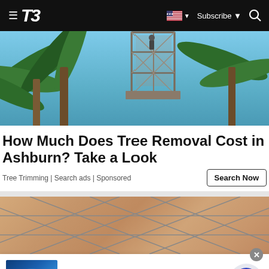T3 — navigation bar with logo, flag selector, Subscribe, and search icon
[Figure (photo): Upward angle photo of palm trees and a metal scaffolding structure against a blue sky]
How Much Does Tree Removal Cost in Ashburn? Take a Look
Tree Trimming | Search ads | Sponsored
[Figure (photo): Close-up photo of beige/tan ceramic floor tiles with gray grout lines forming diamond/hexagon patterns]
[Figure (infographic): Advertisement banner: COMPUTER REPAIR — visit computerrepair247.online/ to learn more — www.computerrepair247.online — with thumbnail image of hands on laptop and a blue arrow CTA button]